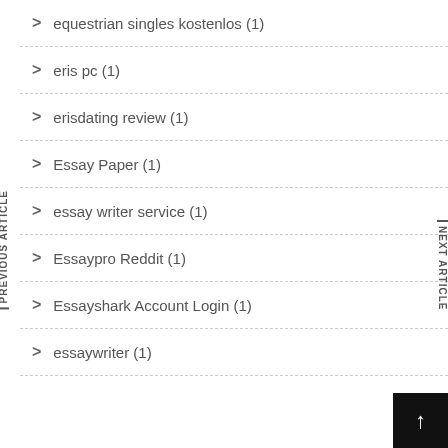equestrian singles kostenlos (1)
eris pc (1)
erisdating review (1)
Essay Paper (1)
essay writer service (1)
Essaypro Reddit (1)
Essayshark Account Login (1)
essaywriter (1)